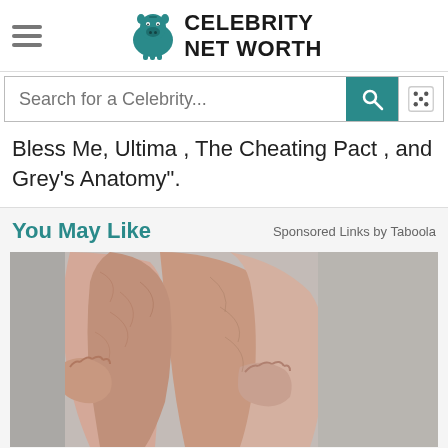Celebrity Net Worth
Bless Me, Ultima , The Cheating Pact , and Grey's Anatomy".
You May Like
Sponsored Links by Taboola
[Figure (photo): Advertisement photo showing person's legs with cellulite, used in a sponsored content widget]